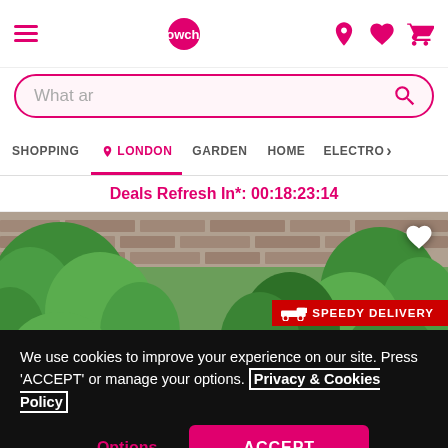Wowcher navigation header with hamburger menu, logo, location, wishlist, and cart icons
What ar
SHOPPING | LONDON | GARDEN | HOME | ELECTRO >
Deals Refresh In*: 00:18:23:14
[Figure (photo): Dark charcoal outdoor storage box/deck box in front of green garden foliage and brick wall background, with a SPEEDY DELIVERY badge in red.]
We use cookies to improve your experience on our site. Press 'ACCEPT' or manage your options. Privacy & Cookies Policy
Options
ACCEPT